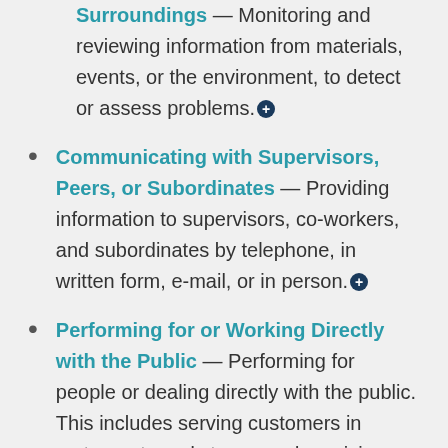Surroundings — Monitoring and reviewing information from materials, events, or the environment, to detect or assess problems.
Communicating with Supervisors, Peers, or Subordinates — Providing information to supervisors, co-workers, and subordinates by telephone, in written form, e-mail, or in person.
Performing for or Working Directly with the Public — Performing for people or dealing directly with the public. This includes serving customers in restaurants and stores, and receiving direc...